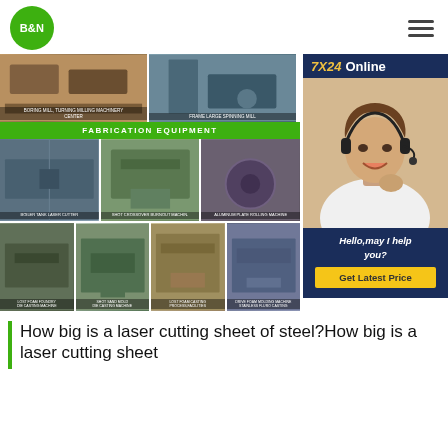[Figure (logo): B&N green circle logo]
[Figure (photo): Fabrication equipment photos grid showing various industrial machines including laser cutters, milling machines, rolling machines, tank laser cutter, and casting machines. FABRICATION EQUIPMENT banner in green.]
[Figure (photo): 7X24 Online support panel showing agent image, Hello may I help you text, and Get Latest Price button]
How big is a laser cutting sheet of steel?How big is a laser cutting sheet